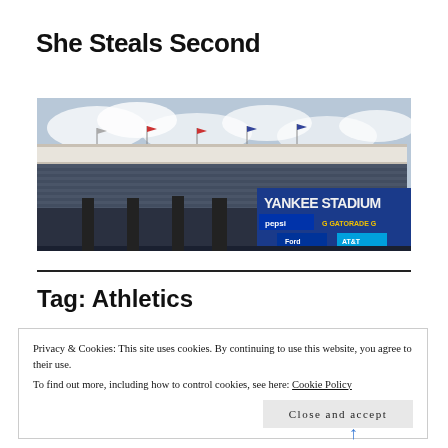She Steals Second
[Figure (photo): Exterior view of Yankee Stadium showing the stadium facade with flags, upper deck seating, and large signage reading YANKEE STADIUM with Pepsi, Gatorade, Ford, and AT&T sponsor logos on a blue billboard.]
Tag: Athletics
Privacy & Cookies: This site uses cookies. By continuing to use this website, you agree to their use.
To find out more, including how to control cookies, see here: Cookie Policy
Close and accept